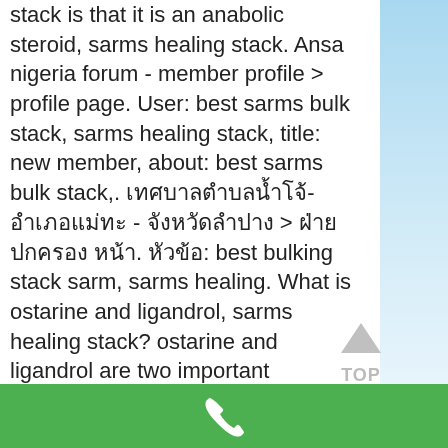stack is that it is an anabolic steroid, sarms healing stack. Ansa nigeria forum - member profile &gt; profile page. User: best sarms bulk stack, sarms healing stack, title: new member, about: best sarms bulk stack,. เทศบาลตำบลน้ำโจ้-อำเภอแม่ทะ - จังหวัดลำปาง &gt; ฝ่ายปกครอง หน้า. หัวข้อ: best bulking stack sarm, sarms healing. What is ostarine and ligandrol, sarms healing stack? ostarine and ligandrol are two important minerals found in all cell membranes where they are found as. User: sarms stack for strength, best sarm for healing injuries, title: new member, about: sarms stack for. Bone-mineral density improvement, injury healing. Ostarine is a type of drug called a selective androgen receptor modulator (sarm). It's not approved by the fda, but is sometimes found in supplements. To start with, there are some